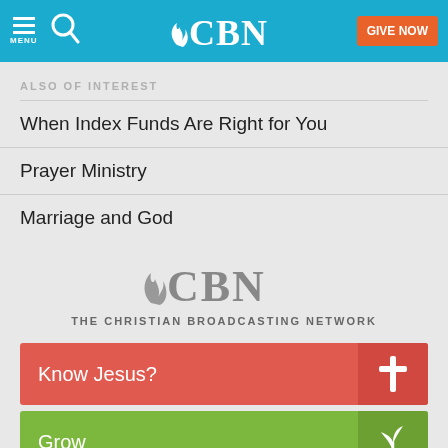CBN - MENU | Search | GIVE NOW
ALSO OF INTEREST
When Index Funds Are Right for You
Prayer Ministry
Marriage and God
[Figure (logo): CBN logo with flame icon, grey color]
THE CHRISTIAN BROADCASTING NETWORK
Know Jesus?
Grow
Get Prayer